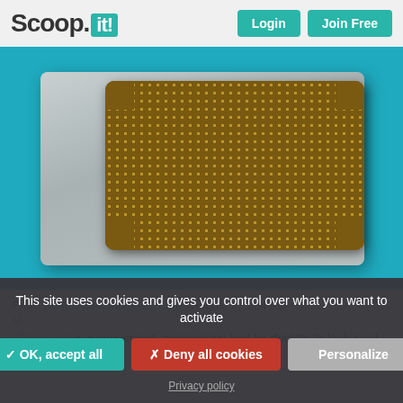Scoop.it! | Login | Join Free
[Figure (photo): Close-up photo of a micro-ultrasound chip/transducer on a teal background. The chip has a golden-brown grid surface with a regular dot matrix pattern, mounted on a silver/grey rectangular plate.]
From www.smithsonianmag.com - August 7, 5:04 AM
Ultrasound is a convenient, noninvasive tool for doctors to look insid…
This site uses cookies and gives you control over what you want to activate
✓ OK, accept all
✗ Deny all cookies
Personalize
Privacy policy